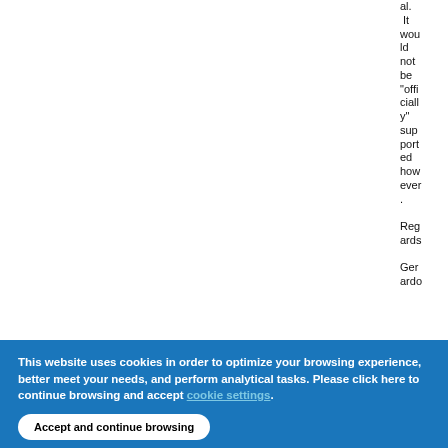al. It would not be "officially" supported however.
Regards
Gerardo
This website uses cookies in order to optimize your browsing experience, better meet your needs, and perform analytical tasks. Please click here to continue browsing and accept [cookie settings]. Accept and continue browsing